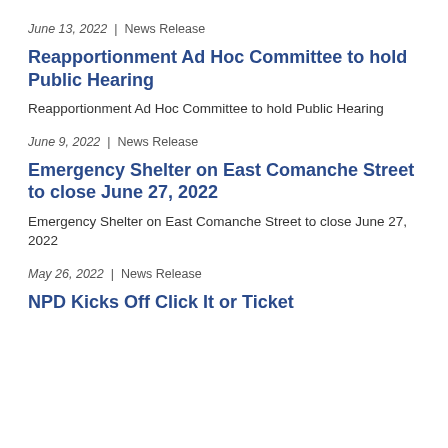June 13, 2022  |  News Release
Reapportionment Ad Hoc Committee to hold Public Hearing
Reapportionment Ad Hoc Committee to hold Public Hearing
June 9, 2022  |  News Release
Emergency Shelter on East Comanche Street to close June 27, 2022
Emergency Shelter on East Comanche Street to close June 27, 2022
May 26, 2022  |  News Release
NPD Kicks Off Click It or Ticket